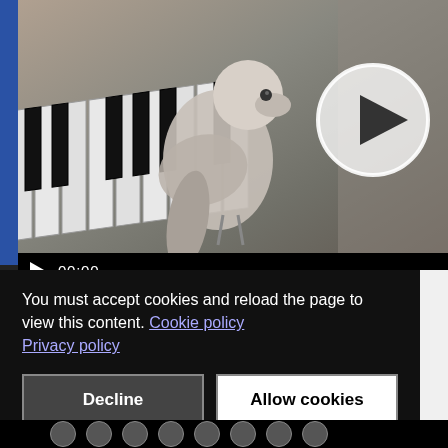[Figure (screenshot): Video player thumbnail showing a bird (cockatiel) standing on piano/keyboard keys. A large circular play button overlay is visible in the center-right. A blue vertical bar appears on the left edge. Video controls bar at bottom shows a play icon and timestamp '00:00'.]
You must accept cookies and reload the page to view this content. Cookie policy
Privacy policy
[Figure (screenshot): Cookie consent dialog with Decline and Allow cookies buttons on dark background.]